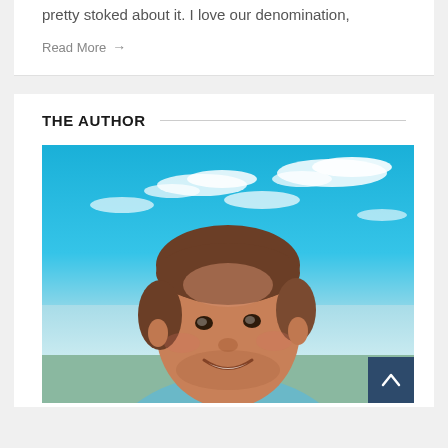pretty stoked about it. I love our denomination,
Read More →
THE AUTHOR
[Figure (photo): Smiling man with short brown hair outdoors against a bright blue sky with white clouds, wearing a light blue shirt. A dark blue scroll-to-top button is overlaid at the bottom right.]